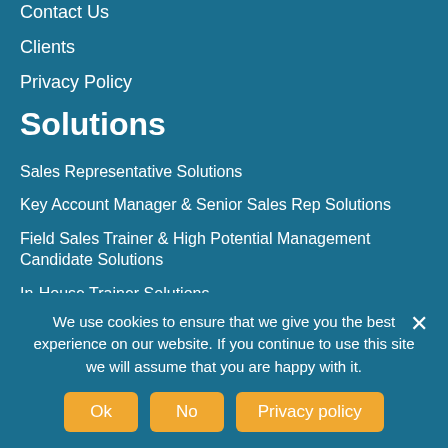Contact Us
Clients
Privacy Policy
Solutions
Sales Representative Solutions
Key Account Manager & Senior Sales Rep Solutions
Field Sales Trainer & High Potential Management Candidate Solutions
In-House Trainer Solutions
First Line Manager Solutions
Leadership Solutions
We use cookies to ensure that we give you the best experience on our website. If you continue to use this site we will assume that you are happy with it.